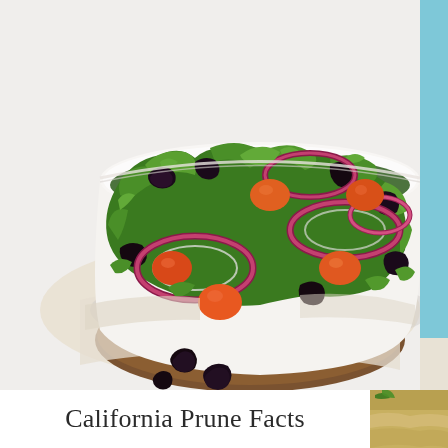[Figure (photo): A large white ceramic bowl filled with a fresh green salad, containing dark prunes/dried plums, cherry tomatoes (orange-red), sliced red onion rings, and mixed greens. The bowl sits on a wooden board with a linen napkin, on a white surface. Loose prunes are scattered in the foreground. A blue panel is visible on the right side.]
California Prune Facts